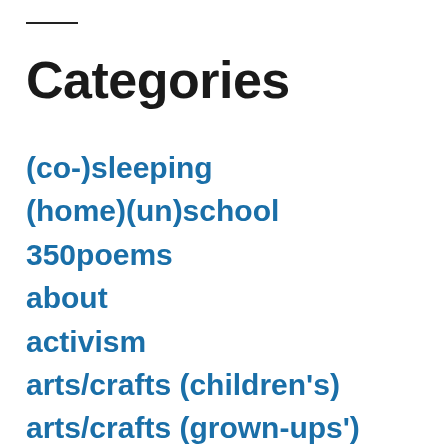Categories
(co-)sleeping
(home)(un)school
350poems
about
activism
arts/crafts (children's)
arts/crafts (grown-ups')
bees
books (children's)